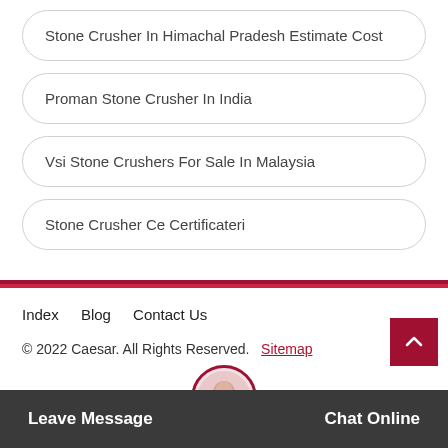Stone Crusher In Himachal Pradesh Estimate Cost
Proman Stone Crusher In India
Vsi Stone Crushers For Sale In Malaysia
Stone Crusher Ce Certificateri
Index   Blog   Contact Us
© 2022 Caesar. All Rights Reserved.   Sitemap
Leave Message
Chat Online